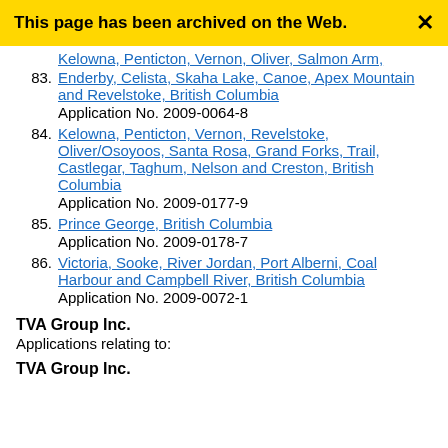This page has been archived on the Web.
83. Enderby, Celista, Skaha Lake, Canoe, Apex Mountain and Revelstoke, British Columbia
Application No. 2009-0064-8
84. Kelowna, Penticton, Vernon, Revelstoke, Oliver/Osoyoos, Santa Rosa, Grand Forks, Trail, Castlegar, Taghum, Nelson and Creston, British Columbia
Application No. 2009-0177-9
85. Prince George, British Columbia
Application No. 2009-0178-7
86. Victoria, Sooke, River Jordan, Port Alberni, Coal Harbour and Campbell River, British Columbia
Application No. 2009-0072-1
TVA Group Inc.
Applications relating to:
TVA Group Inc.